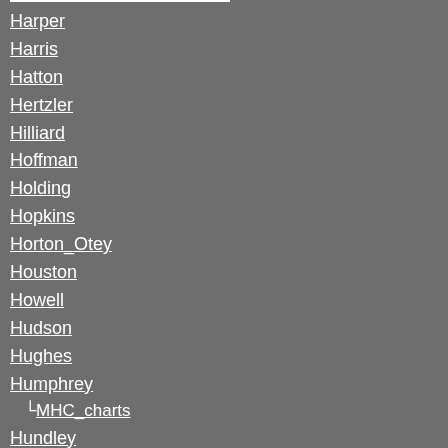Harper
Harris
Hatton
Hertzler
Hilliard
Hoffman
Holding
Hopkins
Horton_Otey
Houston
Howell
Hudson
Hughes
Humphrey
└MHC_charts
Hundley
Hunt_Hurt
Hussey
Inman
Jamar
Johnson_Johnston